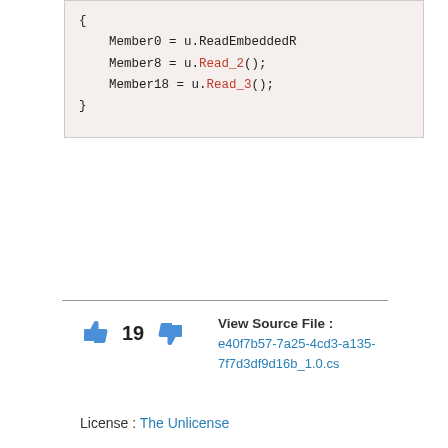[Figure (screenshot): Code block showing C# code with Member0 = u.ReadEmbeddedR..., Member8 = u.Read_2();, Member18 = u.Read_3(); inside curly braces]
View Source File : e40f7b57-7a25-4cd3-a135-7f7d3df9d16b_1.0.cs
19
License : The Unlicense